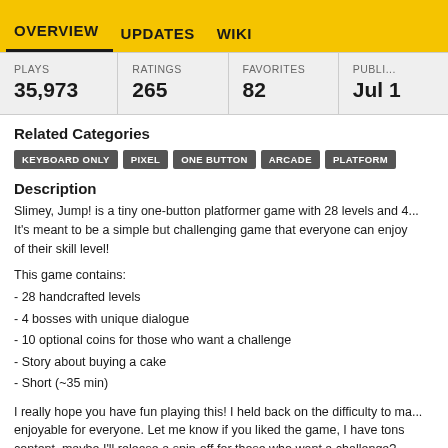OVERVIEW  UPDATES  WIKI
| PLAYS | RATINGS | FAVORITES | PUBLI... |
| --- | --- | --- | --- |
| 35,973 | 265 | 82 | Jul 1 |
Related Categories
KEYBOARD ONLY  PIXEL  ONE BUTTON  ARCADE  PLATFORM
Description
Slimey, Jump! is a tiny one-button platformer game with 28 levels and 4... It's meant to be a simple but challenging game that everyone can enjoy of their skill level!
This game contains:
- 28 handcrafted levels
- 4 bosses with unique dialogue
- 10 optional coins for those who want a challenge
- Story about buying a cake
- Short (~35 min)
I really hope you have fun playing this! I held back on the difficulty to ma... enjoyable for everyone. Let me know if you liked the game, I have tons content, maybe I'll release a spin-off for those who want a challenge?